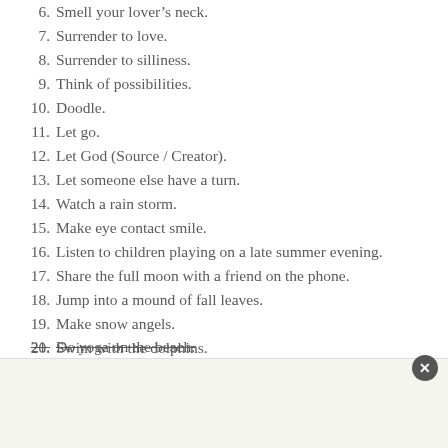6. Smell your lover's neck.
7. Surrender to love.
8. Surrender to silliness.
9. Think of possibilities.
10. Doodle.
11. Let go.
12. Let God (Source / Creator).
13. Let someone else have a turn.
14. Watch a rain storm.
15. Make eye contact smile.
16. Listen to children playing on a late summer evening.
17. Share the full moon with a friend on the phone.
18. Jump into a mound of fall leaves.
19. Make snow angels.
20. Swim with the dolphins.
21. Do yoga on the beach.